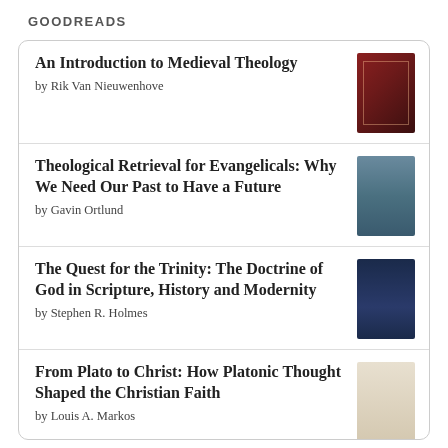GOODREADS
An Introduction to Medieval Theology by Rik Van Nieuwenhove
Theological Retrieval for Evangelicals: Why We Need Our Past to Have a Future by Gavin Ortlund
The Quest for the Trinity: The Doctrine of God in Scripture, History and Modernity by Stephen R. Holmes
From Plato to Christ: How Platonic Thought Shaped the Christian Faith by Louis A. Markos